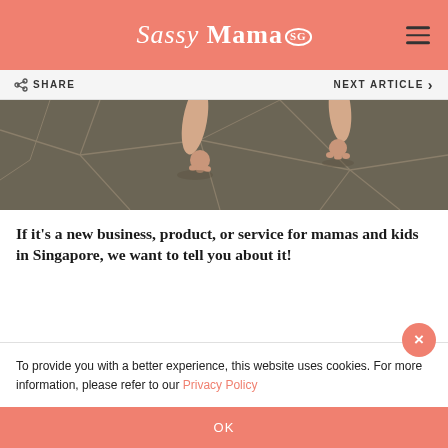Sassy Mama SG
[Figure (photo): Overhead view of child's bare feet/legs on wet cracked sandy ground]
If it's a new business, product, or service for mamas and kids in Singapore, we want to tell you about it!
To provide you with a better experience, this website uses cookies. For more information, please refer to our Privacy Policy
OK